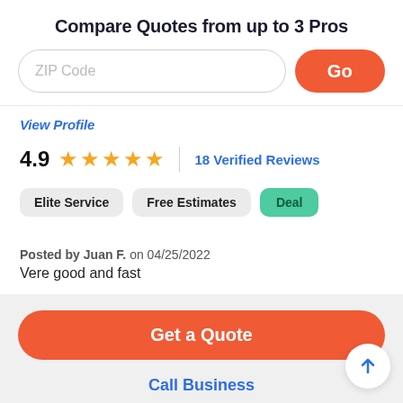Compare Quotes from up to 3 Pros
ZIP Code
Go
View Profile
4.9 ★★★★★ | 18 Verified Reviews
Elite Service
Free Estimates
Deal
Posted by Juan F. on 04/25/2022
Vere good and fast
Get a Quote
Call Business